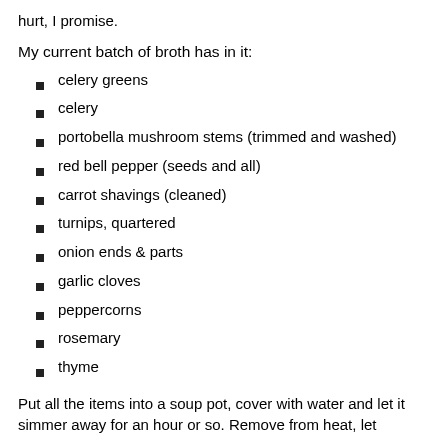hurt, I promise.
My current batch of broth has in it:
celery greens
celery
portobella mushroom stems (trimmed and washed)
red bell pepper (seeds and all)
carrot shavings (cleaned)
turnips, quartered
onion ends & parts
garlic cloves
peppercorns
rosemary
thyme
Put all the items into a soup pot, cover with water and let it simmer away for an hour or so. Remove from heat, let